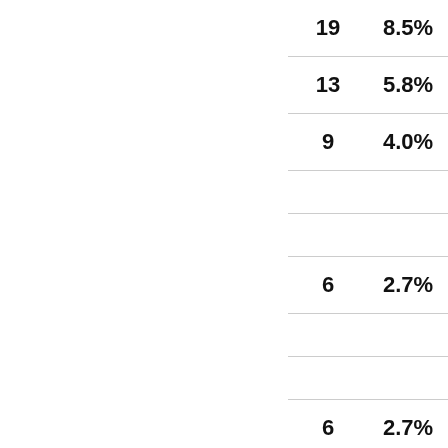| 19 | 8.5% |
| 13 | 5.8% |
| 9 | 4.0% |
|  |  |
|  |  |
| 6 | 2.7% |
|  |  |
|  |  |
| 6 | 2.7% |
|  |  |